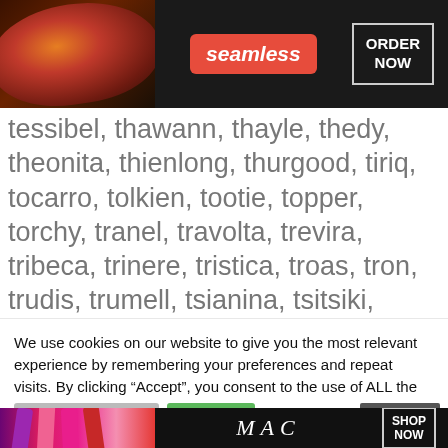[Figure (screenshot): Seamless food delivery advertisement banner with pizza image, red Seamless badge, and ORDER NOW button on dark background]
tessibel, thawann, thayle, thedy, theonita, thienlong, thurgood, tiriq, tocarro, tolkien, tootie, topper, torchy, tranel, travolta, trevira, tribeca, trinere, tristica, troas, tron, trudis, trumell, tsianina, tsitsiki, tunny, twig, twiggy, tyecha, tyneal, tyski, ukari, unseld, vaitiare, valdine, valoyce, veree, vergean, verilea, vulnavia, wainwright, wanderlei, wavell, westmoreland
We use cookies on our website to give you the most relevant experience by remembering your preferences and repeat visits. By clicking “Accept”, you consent to the use of ALL the cookies.
Do not sell my personal information.
[Figure (screenshot): MAC cosmetics advertisement banner with colorful lipsticks, MAC logo, and SHOP NOW button]